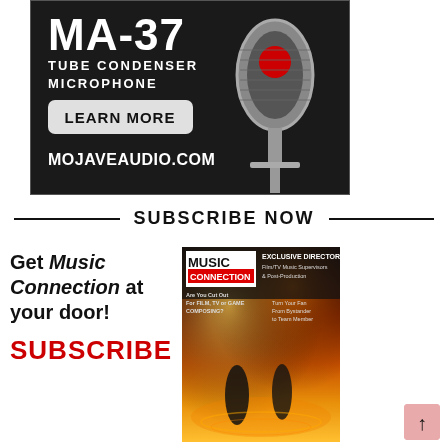[Figure (illustration): Mojave Audio MA-37 Tube Condenser Microphone advertisement on dark background. Shows large vintage-style microphone, text MA-37 TUBE CONDENSER MICROPHONE, LEARN MORE button, and MOJAVEAUDIO.COM URL.]
SUBSCRIBE NOW
[Figure (illustration): Music Connection magazine subscription advertisement with magazine cover showing stage lights and concert scene. Text: Get Music Connection at your door! SUBSCRIBE. Music Connection logo and EXCLUSIVE DIRECTORY text on cover.]
[Figure (illustration): Scroll-to-top button, pink/salmon colored rectangle with upward arrow.]